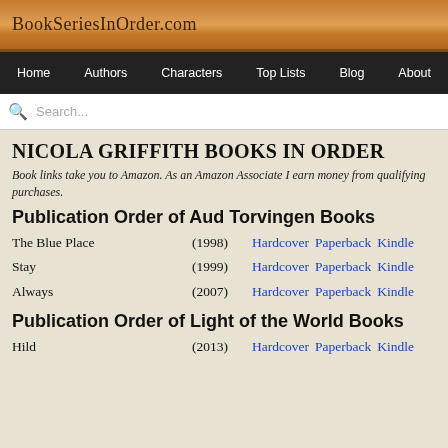BookSeriesInOrder.com
Home  Authors  Characters  Top Lists  Blog  About
NICOLA GRIFFITH BOOKS IN ORDER
Book links take you to Amazon. As an Amazon Associate I earn money from qualifying purchases.
Publication Order of Aud Torvingen Books
The Blue Place (1998) Hardcover Paperback Kindle
Stay (1999) Hardcover Paperback Kindle
Always (2007) Hardcover Paperback Kindle
Publication Order of Light of the World Books
Hild (2013) Hardcover Paperback Kindle